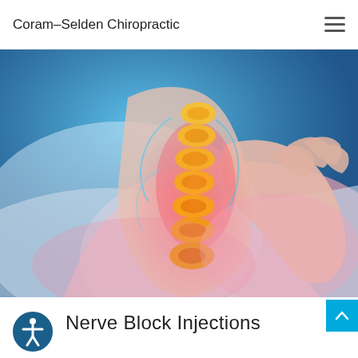Coram-Selden Chiropractic
[Figure (photo): Medical illustration of a human spine/neck with highlighted vertebrae in orange/yellow, surrounded by pink/red pain-indicating areas, and a person's hand holding the neck area. Background has blue and pink gradient indicating nerve/tissue visualization.]
Nerve Block Injections